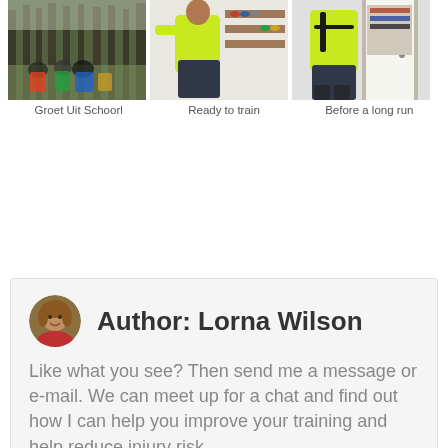[Figure (photo): Three side-by-side photos: left shows a group of runners in a forest, middle shows a person in neon green athletic wear indoors, right shows a person in neon green athletic wear near a door.]
Groet Uit Schoorl
Ready to train
Before a long run
Author: Lorna Wilson
Like what you see? Then send me a message or e-mail. We can meet up for a chat and find out how I can help you improve your training and help reduce injury risk.
06 460 377 74 /
lorna@wilsonsworkouts.nl